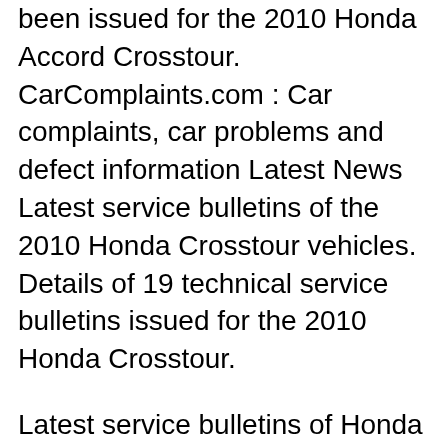been issued for the 2010 Honda Accord Crosstour. CarComplaints.com : Car complaints, car problems and defect information Latest News Latest service bulletins of the 2010 Honda Crosstour vehicles. Details of 19 technical service bulletins issued for the 2010 Honda Crosstour.
Latest service bulletins of Honda Crosstour vehicles. Links to 64 technical service bulletins issued for 6 Honda Crosstour model years. 2010 Accord Crosstour Navigation Manual 2010 Accord Crosstour Owner's Manual. To purchase printed manuals, you can order online or contact: Helm Incorporated (800) 782-4356 M-F 8AM –